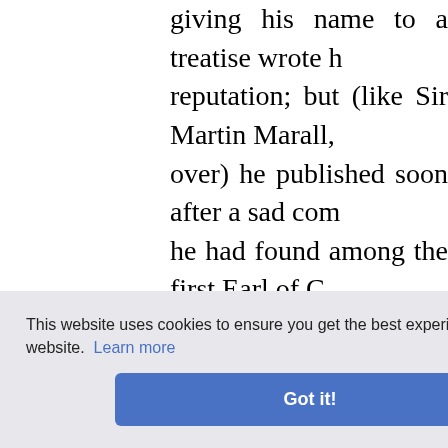giving his name to a treatise wrote h... reputation; but (like Sir Martin Marall, over) he published soon after a sad com he had found among the first Earl of C partial to his own silly works, as a com piece that dishonoured his father's mem... "Thus fell into dust a fame that had mac lord, I do not doubt this fine performanc has been as well diverted with it as establishment of my health." Nor was Lady Mary more kindly abou ...eling eve ...oks you w worth sp Lord Bo is to var country, popery and slavery; and loved his frie...
This website uses cookies to ensure you get the best experience on our website. Learn more
Got it!